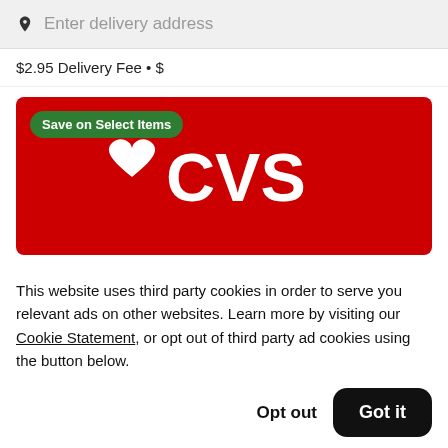Enter delivery address
$2.95 Delivery Fee • $
[Figure (logo): CVS pharmacy banner with red background, white heart and CVS logo, green badge reading 'Save on Select Items']
This website uses third party cookies in order to serve you relevant ads on other websites. Learn more by visiting our Cookie Statement, or opt out of third party ad cookies using the button below.
Opt out  Got it